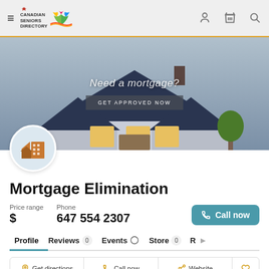Canadian Seniors Directory
[Figure (photo): Hero image of a house with dark blue roof, overlaid with text 'Need a mortgage?' and a 'GET APPROVED NOW' button]
Mortgage Elimination
Price range $  Phone 647 554 2307  Call now
Profile  Reviews 0  Events  Store 0  R
Get directions  Call now  Website